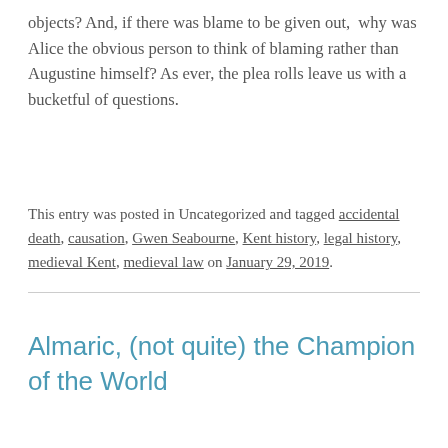objects? And, if there was blame to be given out, why was Alice the obvious person to think of blaming rather than Augustine himself? As ever, the plea rolls leave us with a bucketful of questions.
This entry was posted in Uncategorized and tagged accidental death, causation, Gwen Seabourne, Kent history, legal history, medieval Kent, medieval law on January 29, 2019.
Almaric, (not quite) the Champion of the World